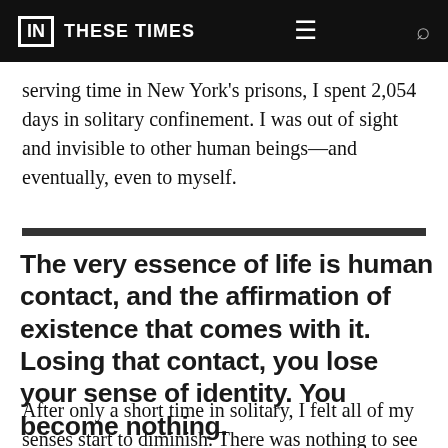IN THESE TIMES
serving time in New York's prisons, I spent 2,054 days in solitary confinement. I was out of sight and invisible to other human beings—and eventually, even to myself.
The very essence of life is human contact, and the affirmation of existence that comes with it. Losing that contact, you lose your sense of identity. You become nothing.
After only a short time in solitary, I felt all of my senses start to diminish. There was nothing to see